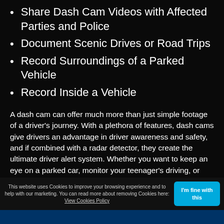Share Dash Cam Videos with Affected Parties and Police
Document Scenic Drives or Road Trips
Record Surroundings of a Parked Vehicle
Record Inside a Vehicle
A dash cam can offer much more than just simple footage of a driver's journey. With a plethora of features, dash cams give drivers an advantage in driver awareness and safety, and if combined with a radar detector, they create the ultimate driver alert system. Whether you want to keep an eye on a parked car, monitor your teenager's driving, or have proof you're not at fault in an accident, dash cams can be a great addition to your vehicle. Read on for more details on each of the benefits mentioned.
This website uses Cookies to improve your browsing experience and to help with our marketing. You can read more about removing Cookies here: View Cookies Policy